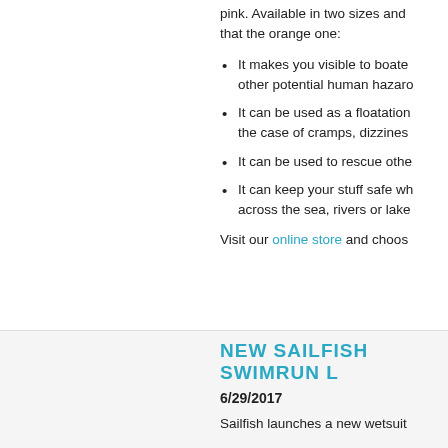pink. Available in two sizes and that the orange one:
It makes you visible to boaters and other potential human hazards
It can be used as a floatation aid in the case of cramps, dizziness
It can be used to rescue others
It can keep your stuff safe while across the sea, rivers or lakes
Visit our online store and choose
NEW SAILFISH SWIMRUN L
6/29/2017
Sailfish launches a new wetsuit